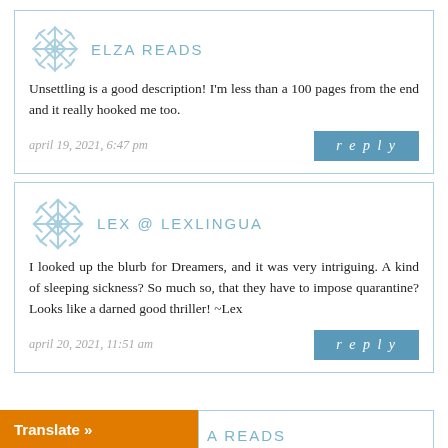ELZA READS
Unsettling is a good description! I'm less than a 100 pages from the end and it really hooked me too.
april 19, 2021, 6:47 pm
reply
LEX @ LEXLINGUA
I looked up the blurb for Dreamers, and it was very intriguing. A kind of sleeping sickness? So much so, that they have to impose quarantine? Looks like a darned good thriller! ~Lex
april 20, 2021, 11:51 am
reply
Translate »
A READS